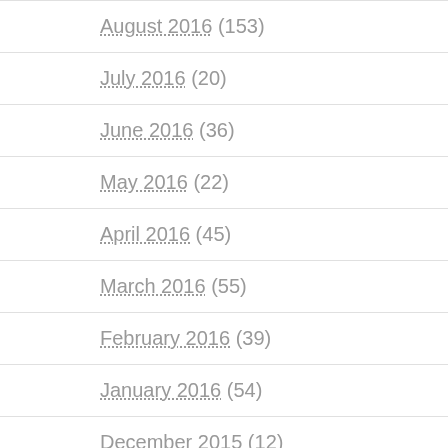August 2016 (153)
July 2016 (20)
June 2016 (36)
May 2016 (22)
April 2016 (45)
March 2016 (55)
February 2016 (39)
January 2016 (54)
December 2015 (12)
November 2015 (15)
October 2015 (10)
September 2015 (19)